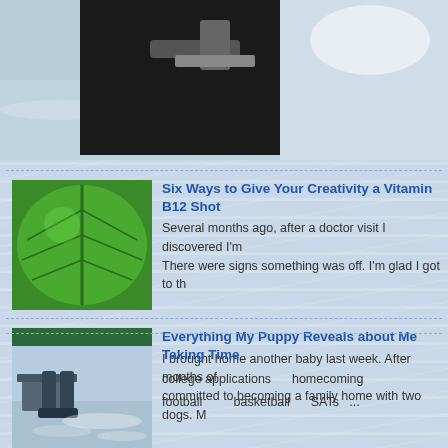[Figure (photo): Top banner image showing a dark mechanical object (possibly vehicle/boat part) against water/sky background]
Six Ways to Give Your Creativity a Vitamin B12 Shot
Several months ago, after a doctor visit I discovered I'm... There were signs something was off. I'm glad I got to th...
[Figure (photo): Close-up photo of a white puppy or small dog being held]
Everything My Puppy Reveals about Me
I brought home another baby last week. After months of... committed to becoming a family home with two dogs. M...
[Figure (photo): Photo showing legs/feet and a boat or dock scene with water]
Taking Time
college applications   homecoming
football   basketball   SATs   ...